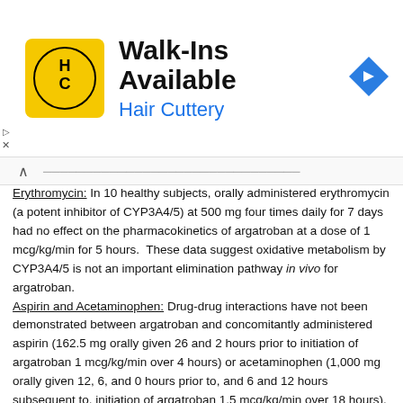[Figure (other): Hair Cuttery advertisement banner with logo, 'Walk-Ins Available' heading, and navigation icon]
Erythromycin: In 10 healthy subjects, orally administered erythromycin (a potent inhibitor of CYP3A4/5) at 500 mg four times daily for 7 days had no effect on the pharmacokinetics of argatroban at a dose of 1 mcg/kg/min for 5 hours. These data suggest oxidative metabolism by CYP3A4/5 is not an important elimination pathway in vivo for argatroban.
Aspirin and Acetaminophen: Drug-drug interactions have not been demonstrated between argatroban and concomitantly administered aspirin (162.5 mg orally given 26 and 2 hours prior to initiation of argatroban 1 mcg/kg/min over 4 hours) or acetaminophen (1,000 mg orally given 12, 6, and 0 hours prior to, and 6 and 12 hours subsequent to, initiation of argatroban 1.5 mcg/kg/min over 18 hours).